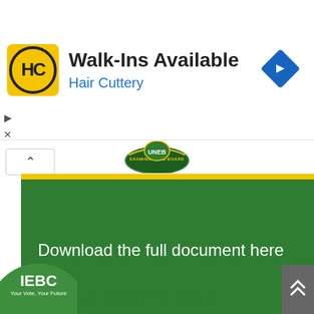[Figure (infographic): Advertisement banner for Hair Cuttery with yellow HC logo, bold headline 'Walk-Ins Available', blue subtitle 'Hair Cuttery', and a blue diamond arrow icon on the right. Small play and close controls on the left edge.]
[Figure (logo): Examinations Board logo (green crest/emblem) partially visible at the top of the main content area.]
[Figure (infographic): Green banner with a yellow horizontal stripe at the top and white text reading 'Download the full document here' on a dark green background.]
Download UNEB PLE UCE UACE Examination Timetable PDF
[Figure (logo): IEBC (Independent Electoral and Boundaries Commission) circular logo, green, partially cropped at bottom left. Text: 'IEBC', 'Your Vote, Your Future'.]
General Electic